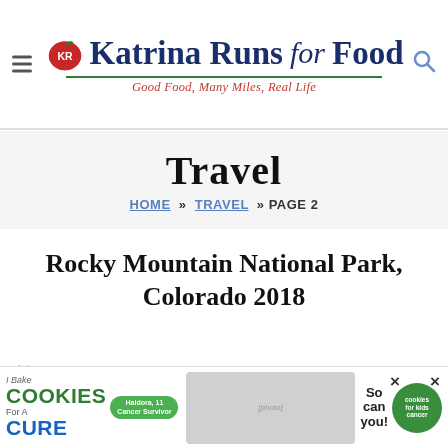Katrina Runs for Food — Good Food, Many Miles, Real Life
Travel
HOME » TRAVEL » PAGE 2
Rocky Mountain National Park, Colorado 2018
[Figure (other): Advertisement banner for 'I Bake Cookies For A Cure' with Haldora, 11, Cancer Survivor, cookies for kids cancer logo, and close buttons]
We ... a p ... find ... alth ... we